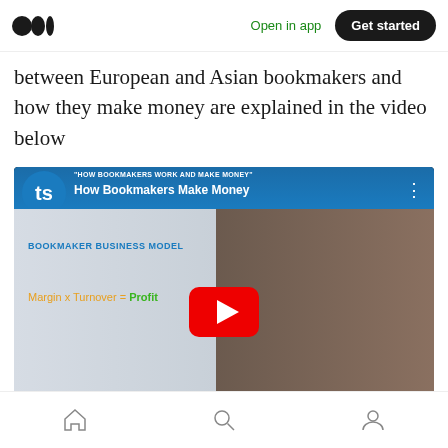Open in app | Get started
between European and Asian bookmakers and how they make money are explained in the video below
[Figure (screenshot): YouTube video thumbnail showing 'How Bookmakers Make Money' video with a young man wearing glasses and text 'BOOKMAKER BUSINESS MODEL' and 'Margin x Turnover = Profit']
Home | Search | Profile